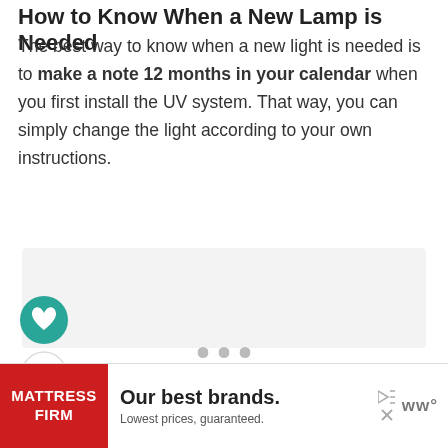How to Know When a New Lamp is Needed
The best way to know when a new light is needed is to make a note 12 months in your calendar when you first install the UV system. That way, you can simply change the light according to your own instructions.
[Figure (other): Light gray image placeholder box]
[Figure (infographic): Social interaction buttons: heart/like button (teal circle), count showing 1, share button]
[Figure (other): Three pagination dots]
[Figure (advertisement): Mattress Firm advertisement banner: red logo on left, 'Our best brands. Lowest prices, guaranteed.' text, control buttons and WW logo on right]